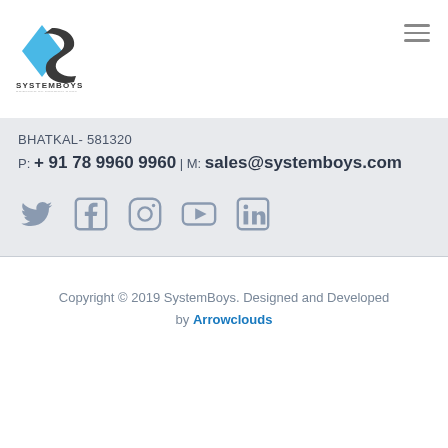[Figure (logo): SystemBoys logo with blue and dark curved S shape, text SYSTEMBOYS POWERED BY ARROWCLOUDS]
BHATKAL- 581320
P: + 91 78 9960 9960 | M: sales@systemboys.com
[Figure (other): Social media icons: Twitter, Facebook, Instagram, YouTube, LinkedIn]
Copyright © 2019 SystemBoys. Designed and Developed by Arrowclouds